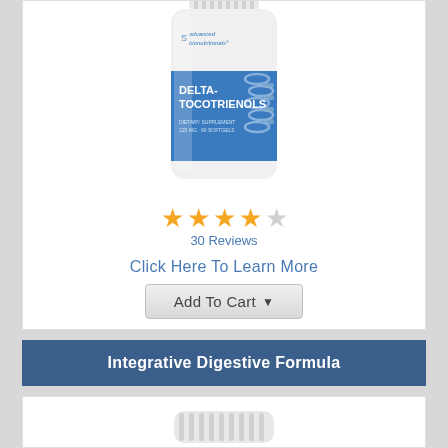[Figure (photo): White supplement bottle labeled 'Advanced Bionutritionals Delta-Tocotrienols dietary supplement 125mg 60 softgels' with blue label and DNA helix graphic]
[Figure (other): 4-star rating out of 5 stars (4 filled gold stars, 1 empty)]
30 Reviews
Click Here To Learn More
Add To Cart
Integrative Digestive Formula
[Figure (photo): Top of a white supplement bottle cap, partially visible at bottom of page]